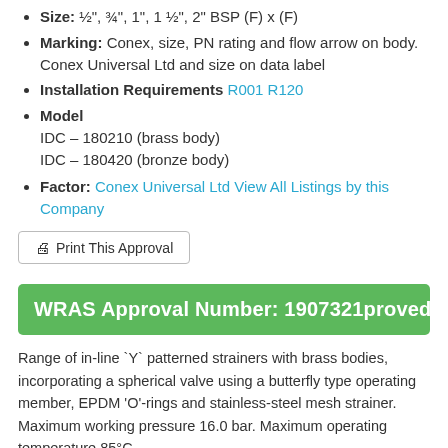Size: ½", ¾", 1", 1 ½", 2" BSP (F) x (F)
Marking: Conex, size, PN rating and flow arrow on body. Conex Universal Ltd and size on data label
Installation Requirements R001 R120
Model
IDC – 180210 (brass body)
IDC – 180420 (bronze body)
Factor: Conex Universal Ltd View All Listings by this Company
Print This Approval
WRAS Approval Number: 1907321proved Product
Range of in-line `Y` patterned strainers with brass bodies, incorporating a spherical valve using a butterfly type operating member, EPDM 'O'-rings and stainless-steel mesh strainer. Maximum working pressure 16.0 bar. Maximum operating temperature 85°C.
Section: 1715 Strainers